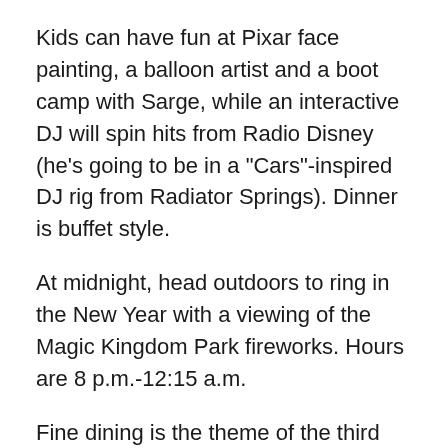Kids can have fun at Pixar face painting, a balloon artist and a boot camp with Sarge, while an interactive DJ will spin hits from Radio Disney (he’s going to be in a “Cars”-inspired DJ rig from Radiator Springs). Dinner is buffet style.
At midnight, head outdoors to ring in the New Year with a viewing of the Magic Kingdom Park fireworks. Hours are 8 p.m.-12:15 a.m.
Fine dining is the theme of the third party, “Down in New Orleans: A Disney New Year’s Eve Dining Experience” in the Grand Republic Ballroom. Inspired by the Disney animated film “The Princess and the Frog,” the room is beautifully decorated French Quarter style to transport you to the Big Easy.